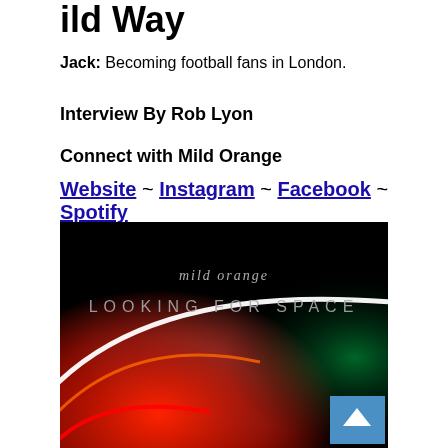Mild Way
Jack: Becoming football fans in London.
Interview By Rob Lyon
Connect with Mild Orange
Website ~ Instagram ~ Facebook ~ Spotify
[Figure (photo): Album cover for 'Looking for Space' by Mild Orange. Dark background with neon-lit curved surfaces — red/orange glow at bottom, teal/blue in the middle, white highlight arc. Text reads 'mild orange' in cursive and 'LOOKING FOR SPACE' in spaced caps. A blue scroll-to-top button overlays the bottom right corner.]